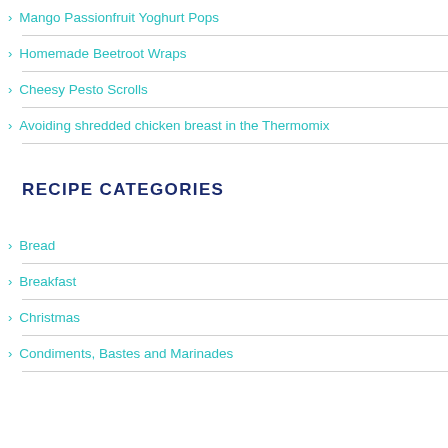Mango Passionfruit Yoghurt Pops
Homemade Beetroot Wraps
Cheesy Pesto Scrolls
Avoiding shredded chicken breast in the Thermomix
RECIPE CATEGORIES
Bread
Breakfast
Christmas
Condiments, Bastes and Marinades